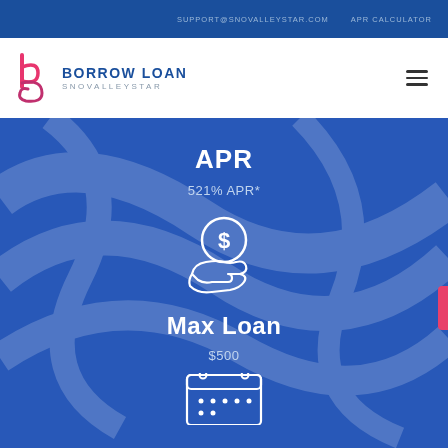SUPPORT@SNOVALLEYSTAR.COM   APR CALCULATOR
[Figure (logo): Borrow Loan SnovalleyStar logo with stylized 'b' icon in pink/magenta and blue text]
APR
521% APR*
[Figure (illustration): White outline icon of a hand holding a coin with dollar sign]
Max Loan
$500
[Figure (illustration): White outline icon of a calendar partially visible at bottom]